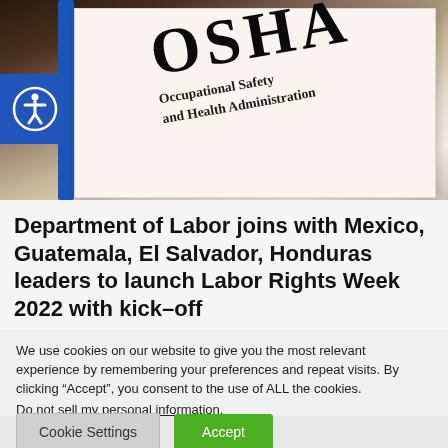[Figure (photo): Close-up photo of an OSHA (Occupational Safety and Health Administration) document on a clipboard with a blue clip, showing large bold text 'OSHA' and subtitle 'Occupational Safety and Health Administration'. An accessibility icon button is overlaid in the top-left corner.]
Department of Labor joins with Mexico, Guatemala, El Salvador, Honduras leaders to launch Labor Rights Week 2022 with kick-off
We use cookies on our website to give you the most relevant experience by remembering your preferences and repeat visits. By clicking “Accept”, you consent to the use of ALL the cookies.
Do not sell my personal information.